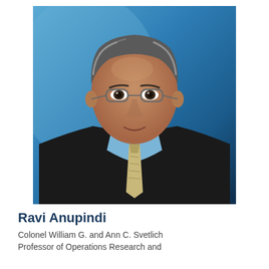[Figure (photo): Professional headshot of Ravi Anupindi, a middle-aged man with gray-streaked hair wearing glasses, a dark suit jacket, light blue shirt, and patterned tie, photographed against a blue gradient background.]
Ravi Anupindi
Colonel William G. and Ann C. Svetlich Professor of Operations Research and